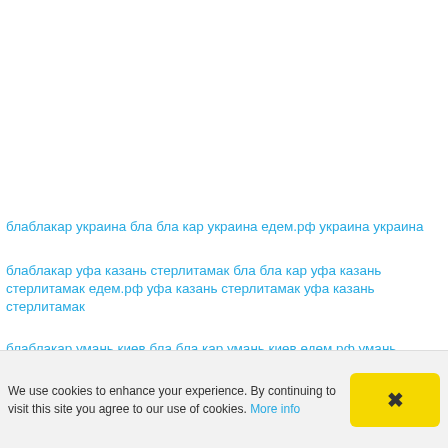блаблакар украина бла бла кар украина едем.рф украина украина
блаблакар уфа казань стерлитамак бла бла кар уфа казань стерлитамак едем.рф уфа казань стерлитамак уфа казань стерлитамак
блаблакар умань киев бла бла кар умань киев едем.рф умань киев умань киев
We use cookies to enhance your experience. By continuing to visit this site you agree to our use of cookies. More info